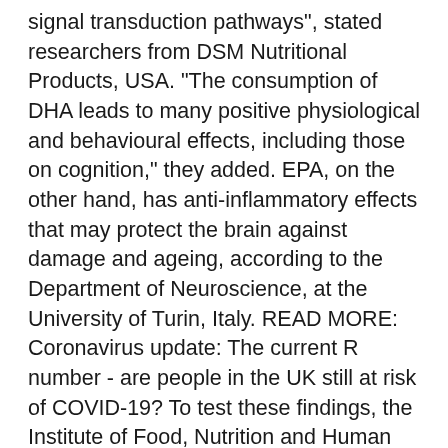signal transduction pathways", stated researchers from DSM Nutritional Products, USA. "The consumption of DHA leads to many positive physiological and behavioural effects, including those on cognition," they added. EPA, on the other hand, has anti-inflammatory effects that may protect the brain against damage and ageing, according to the Department of Neuroscience, at the University of Turin, Italy. READ MORE: Coronavirus update: The current R number - are people in the UK still at risk of COVID-19? To test these findings, the Institute of Food, Nutrition and Human Health at Massey University, New Zealand, conducted a study. They investigated whether a DHA supplement improved cognitive performance in adults. For the six-month experiment, 176 healthy, non-smoking adults – who had a low intake of DHA – were recruited. In the placebo-controlled, double-blind intervention, people either consumed 1.16 grams of DHA or a placebo. DON'T